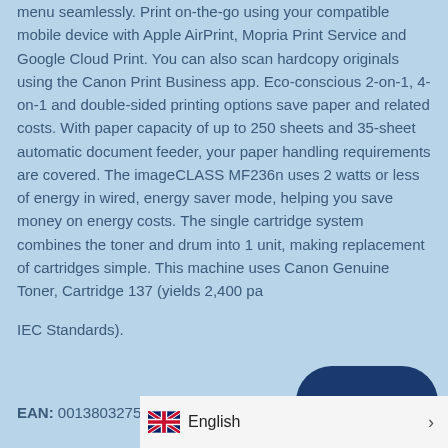menu seamlessly. Print on-the-go using your compatible mobile device with Apple AirPrint, Mopria Print Service and Google Cloud Print. You can also scan hardcopy originals using the Canon Print Business app. Eco-conscious 2-on-1, 4-on-1 and double-sided printing options save paper and related costs. With paper capacity of up to 250 sheets and 35-sheet automatic document feeder, your paper handling requirements are covered. The imageCLASS MF236n uses 2 watts or less of energy in wired, energy saver mode, helping you save money on energy costs. The single cartridge system combines the toner and drum into 1 unit, making replacement of cartridges simple. This machine uses Canon Genuine Toner, Cartridge 137 (yields 2,400 pages based on IEC Standards).
EAN: 0013803275124